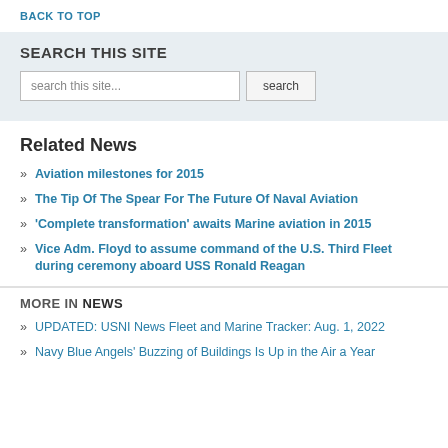BACK TO TOP
SEARCH THIS SITE
search this site...  search
Related News
Aviation milestones for 2015
The Tip Of The Spear For The Future Of Naval Aviation
'Complete transformation' awaits Marine aviation in 2015
Vice Adm. Floyd to assume command of the U.S. Third Fleet during ceremony aboard USS Ronald Reagan
MORE IN NEWS
UPDATED: USNI News Fleet and Marine Tracker: Aug. 1, 2022
Navy Blue Angels' Buzzing of Buildings Is Up in the Air a Year